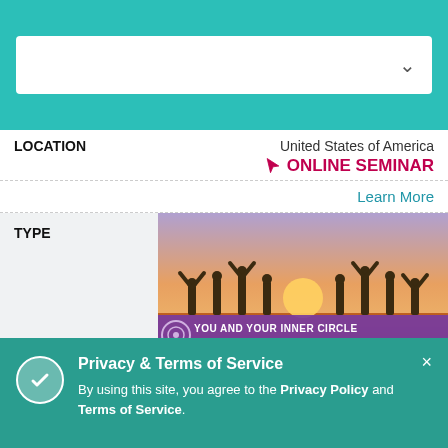[Figure (screenshot): Top teal navigation bar with white search/dropdown box]
LOCATION
United States of America
ONLINE SEMINAR
Learn More
TYPE
[Figure (photo): You and Your Inner Circle banner image with people silhouettes at sunset and logo]
INSTRUCTOR
Jeniffer de Sordi Macedo
DATES
September 9 - 10, 2022
LOCATION
Ireland
ONLINE SEMINAR
Privacy & Terms of Service
By using this site, you agree to the Privacy Policy and Terms of Service.